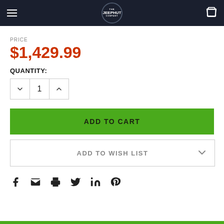The Jeep Hut - Navigation Header
PRICE
$1,429.99
QUANTITY:
ADD TO CART
ADD TO WISH LIST